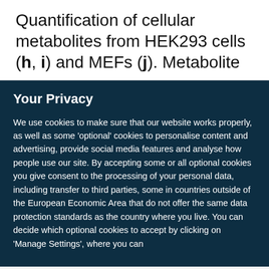Quantification of cellular metabolites from HEK293 cells (h, i) and MEFs (j). Metabolite
Your Privacy
We use cookies to make sure that our website works properly, as well as some 'optional' cookies to personalise content and advertising, provide social media features and analyse how people use our site. By accepting some or all optional cookies you give consent to the processing of your personal data, including transfer to third parties, some in countries outside of the European Economic Area that do not offer the same data protection standards as the country where you live. You can decide which optional cookies to accept by clicking on 'Manage Settings', where you can
Get the most important science stories of the day, free in your inbox.
Sign up for Nature Briefing